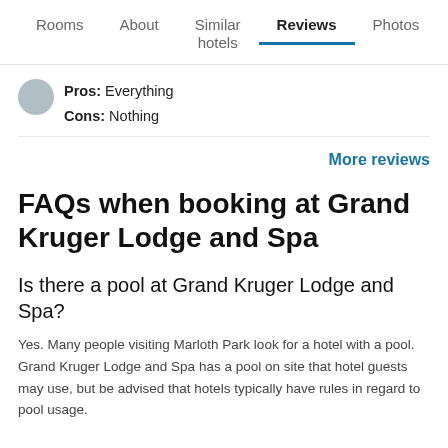Rooms | About | Similar hotels | Reviews | Photos | FAQ
Pros: Everything
Cons: Nothing
More reviews
FAQs when booking at Grand Kruger Lodge and Spa
Is there a pool at Grand Kruger Lodge and Spa?
Yes. Many people visiting Marloth Park look for a hotel with a pool. Grand Kruger Lodge and Spa has a pool on site that hotel guests may use, but be advised that hotels typically have rules in regard to pool usage.